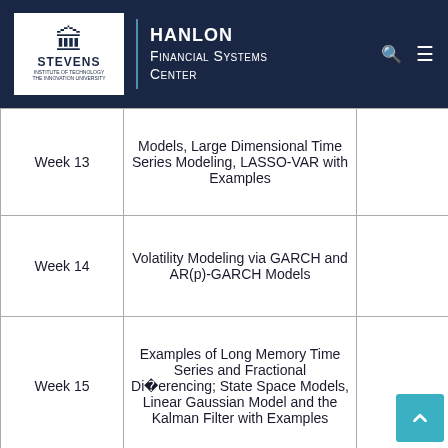HANLON Financial Systems Center — Stevens Institute of Technology
| Week | Topic |  |
| --- | --- | --- |
| Week 13 | Models, Large Dimensional Time Series Modeling, LASSO-VAR with Examples |  |
| Week 14 | Volatility Modeling via GARCH and AR(p)-GARCH Models |  |
| Week 15 | Examples of Long Memory Time Series and Fractional Differencing; State Space Models, Linear Gaussian Model and the Kalman Filter with Examples |  |
| Week 16 | Final Project Presentations |  |